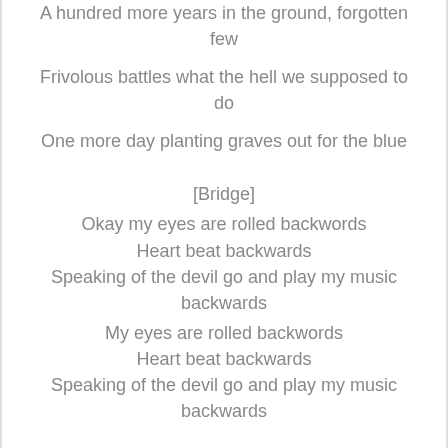A hundred more years in the ground, forgotten few
Frivolous battles what the hell we supposed to do
One more day planting graves out for the blue
[Bridge]
Okay my eyes are rolled backwords
Heart beat backwards
Speaking of the devil go and play my music backwards
My eyes are rolled backwords
Heart beat backwards
Speaking of the devil go and play my music backwards
[Verse 1 : XTalik]